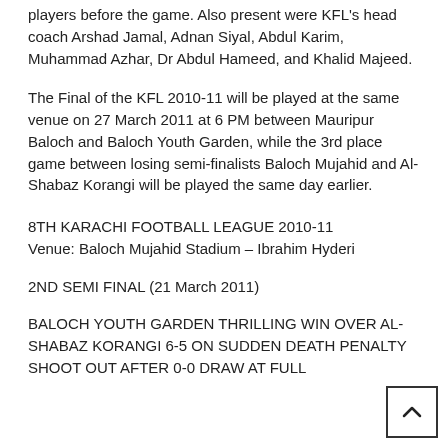players before the game. Also present were KFL's head coach Arshad Jamal, Adnan Siyal, Abdul Karim, Muhammad Azhar, Dr Abdul Hameed, and Khalid Majeed.
The Final of the KFL 2010-11 will be played at the same venue on 27 March 2011 at 6 PM between Mauripur Baloch and Baloch Youth Garden, while the 3rd place game between losing semi-finalists Baloch Mujahid and Al-Shabaz Korangi will be played the same day earlier.
8TH KARACHI FOOTBALL LEAGUE 2010-11
Venue: Baloch Mujahid Stadium – Ibrahim Hyderi
2ND SEMI FINAL (21 March 2011)
BALOCH YOUTH GARDEN THRILLING WIN OVER AL-SHABAZ KORANGI 6-5 ON SUDDEN DEATH PENALTY SHOOT OUT AFTER 0-0 DRAW AT FULL